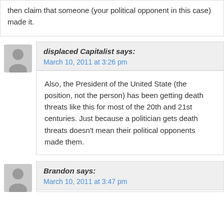then claim that someone (your political opponent in this case) made it.
displaced Capitalist says:
March 10, 2011 at 3:26 pm
Also, the President of the United State (the position, not the person) has been getting death threats like this for most of the 20th and 21st centuries. Just because a politician gets death threats doesn't mean their political opponents made them.
Brandon says:
March 10, 2011 at 3:47 pm